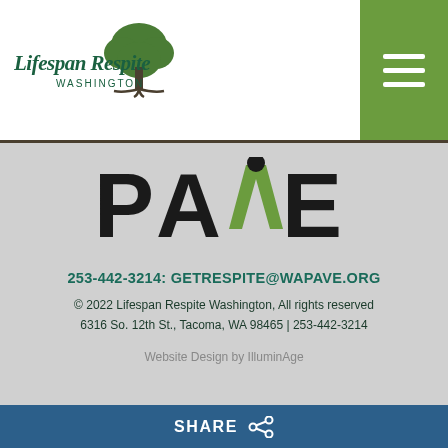[Figure (logo): Lifespan Respite Washington logo with green tree and text]
[Figure (logo): PAVE logo with green stylized figure and bold letters]
253-442-3214: GETRESPITE@WAPAVE.ORG
© 2022 Lifespan Respite Washington, All rights reserved
6316 So. 12th St., Tacoma, WA 98465 | 253-442-3214
Website Design by IlluminAge
SHARE